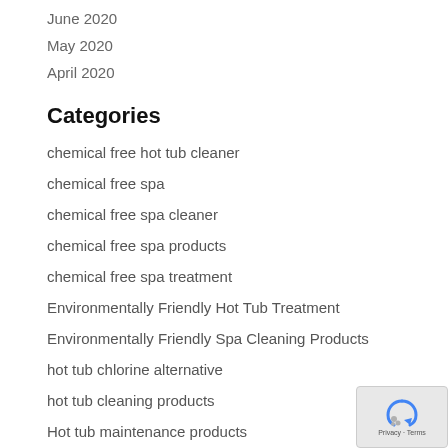June 2020
May 2020
April 2020
Categories
chemical free hot tub cleaner
chemical free spa
chemical free spa cleaner
chemical free spa products
chemical free spa treatment
Environmentally Friendly Hot Tub Treatment
Environmentally Friendly Spa Cleaning Products
hot tub chlorine alternative
hot tub cleaning products
Hot tub maintenance products